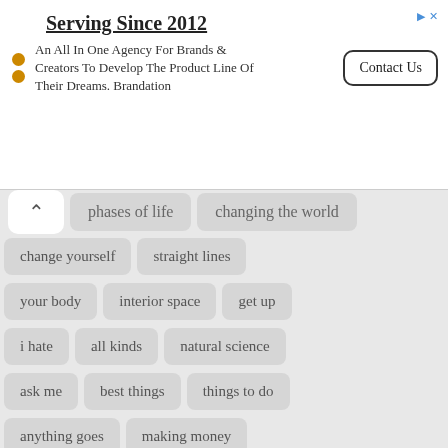[Figure (infographic): Advertisement banner: 'Serving Since 2012' — An All In One Agency For Brands & Creators To Develop The Product Line Of Their Dreams. Brandation. Contact Us button.]
phases of life
changing the world
change yourself
straight lines
your body
interior space
get up
i hate
all kinds
natural science
ask me
best things
things to do
anything goes
making money
works of art
should i
amazing people
small minds
gave up
opera house
years ago
old age